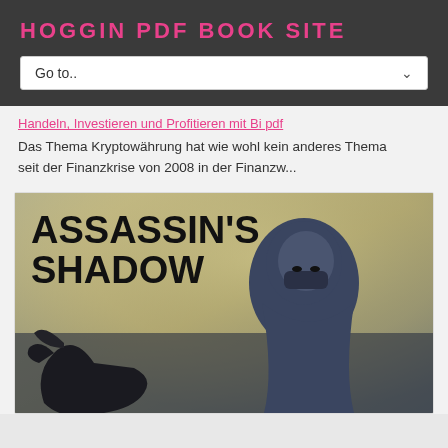HOGGIN PDF BOOK SITE
Go to..
Handeln, Investieren und Profitieren mit Bi pdf
Das Thema Kryptowährung hat wie wohl kein anderes Thema seit der Finanzkrise von 2008 in der Finanzw...
[Figure (illustration): Book cover for 'Assassin's Shadow' showing a cloaked assassin figure with a dark hood and mask, with a dark creature/horse in the lower left, on a misty background]